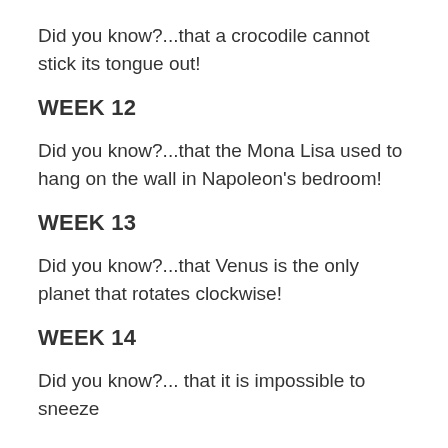Did you know?...that a crocodile cannot stick its tongue out!
WEEK 12
Did you know?...that the Mona Lisa used to hang on the wall in Napoleon's bedroom!
WEEK 13
Did you know?...that Venus is the only planet that rotates clockwise!
WEEK 14
Did you know?... that it is impossible to sneeze